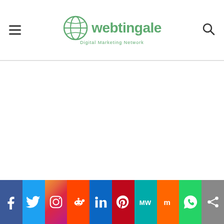webtingale Digital Marketing Network
[Figure (logo): Webtingale Digital Marketing Network logo with globe icon and green text]
Social share bar: Facebook, Twitter, Instagram, Reddit, LinkedIn, Pinterest, MeWe, Mix, WhatsApp, Share